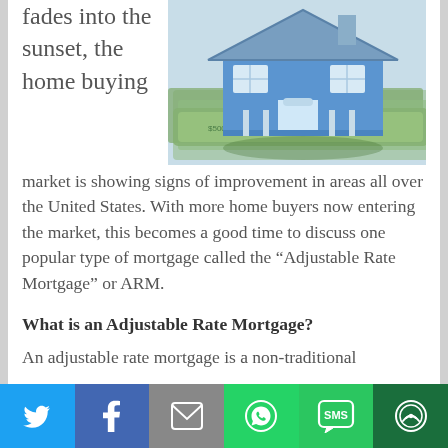fades into the sunset, the home buying
[Figure (photo): A miniature blue house model sitting on top of a stack of US dollar bills]
market is showing signs of improvement in areas all over the United States. With more home buyers now entering the market, this becomes a good time to discuss one popular type of mortgage called the “Adjustable Rate Mortgage” or ARM.
What is an Adjustable Rate Mortgage?
An adjustable rate mortgage is a non-traditional
Social sharing bar: Twitter, Facebook, Email, WhatsApp, SMS, More